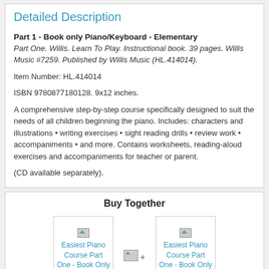Detailed Description
Part 1 - Book only Piano/Keyboard - Elementary
Part One. Willis. Learn To Play. Instructional book. 39 pages. Willis Music #7259. Published by Willis Music (HL.414014).
Item Number: HL.414014
ISBN 9780877180128. 9x12 inches.
A comprehensive step-by-step course specifically designed to suit the needs of all children beginning the piano. Includes: characters and illustrations • writing exercises • sight reading drills • review work • accompaniments • and more. Contains worksheets, reading-aloud exercises and accompaniments for teacher or parent.
(CD available separately).
Buy Together
[Figure (illustration): Product image placeholder for Easiest Piano Course Part One - Book Only, priced at $7.99]
[Figure (illustration): Plus sign icon between two product images]
[Figure (illustration): Product image placeholder for Easiest Piano Course Part One - Book Only, priced at $6.99]